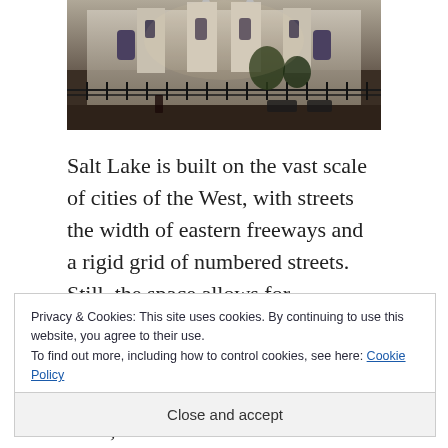[Figure (photo): Photograph of a large stone building (Salt Lake Temple or similar) with ornate architecture, iron fence in foreground, trees visible]
Salt Lake is built on the vast scale of cities of the West, with streets the width of eastern freeways and a rigid grid of numbered streets. Still, the space allows for innovation; there are
Privacy & Cookies: This site uses cookies. By continuing to use this website, you agree to their use.
To find out more, including how to control cookies, see here: Cookie Policy
Close and accept
surprisingly non-Mormon for Utah;